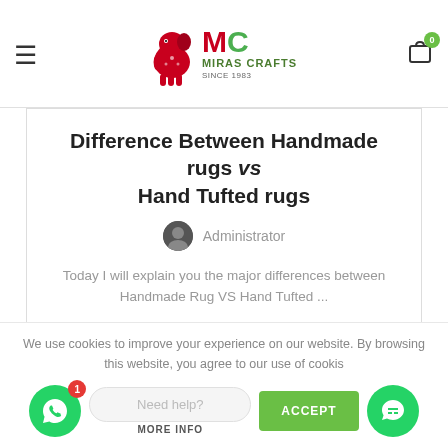Miras Crafts - Since 1983
Difference Between Handmade rugs vs Hand Tufted rugs
Administrator
Today I will explain you the major differences between Handmade Rug VS Hand Tufted ...
CONTINUE READING
We use cookies to improve your experience on our website. By browsing this website, you agree to our use of cookies
Need help?
MORE INFO
ACCEPT